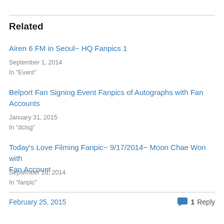Related
Airen 6 FM in Seoul~ HQ Fanpics 1
September 1, 2014
In "Event"
Belport Fan Signing Event Fanpics of Autographs with Fan Accounts
January 31, 2015
In "dclsg"
Today's Love Filming Fanpic~ 9/17/2014~ Moon Chae Won with Fan Account
September 18, 2014
In "fanpic"
February 25, 2015   1 Reply